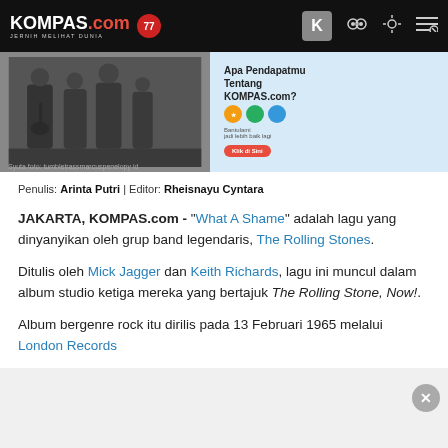KOMPAS.com JERNIH MELIHAT DUNIA
[Figure (screenshot): Screenshot of a Kompas.com article page showing two images: a black and white photo of musicians (The Rolling Stones) on the left, and an advertisement for Kompas.com feedback on the right]
Penulis: Arinta Putri | Editor: Rheisnayu Cyntara
JAKARTA, KOMPAS.com - "What A Shame" adalah lagu yang dinyanyikan oleh grup band legendaris, The Rolling Stones.
Ditulis oleh Mick Jagger dan Keith Richards, lagu ini muncul dalam album studio ketiga mereka yang bertajuk The Rolling Stone, Now!.
Album bergenre rock itu dirilis pada 13 Februari 1965 melalui London Records